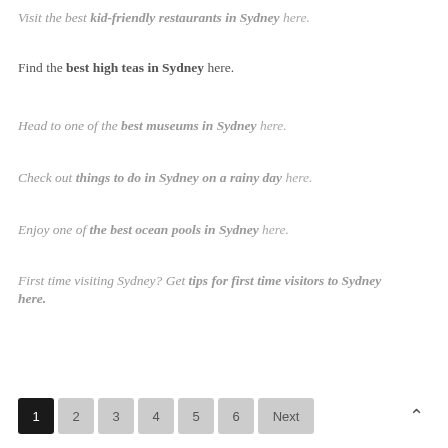Visit the best kid-friendly restaurants in Sydney here.
Find the best high teas in Sydney here.
Head to one of the best museums in Sydney here.
Check out things to do in Sydney on a rainy day here.
Enjoy one of the best ocean pools in Sydney here.
First time visiting Sydney? Get tips for first time visitors to Sydney here.
1  2  3  4  5  6  Next